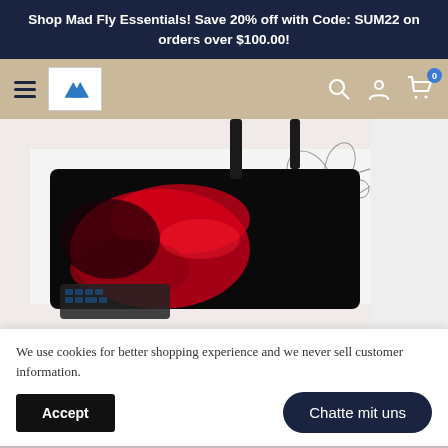Shop Mad Fly Essentials! Save 20% off with Code: SUM22 on orders over $100.00!
[Figure (screenshot): Navigation bar with hamburger menu, Mad Fly Essentials logo, search icon, user icon, and cart icon with badge showing 0]
[Figure (photo): Photo of a gaming desk mat with red and black swirl design on a white desk, with a keyboard and floral decoration visible]
We use cookies for better shopping experience and we never sell customer information.
Accept
Chatte mit uns